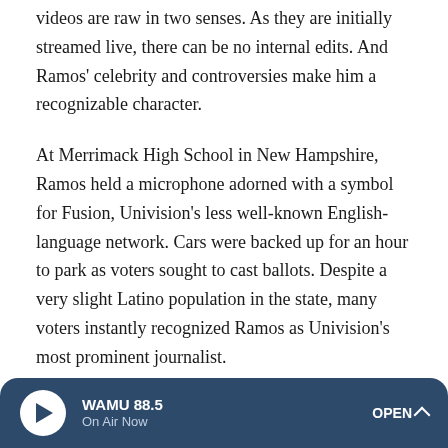videos are raw in two senses. As they are initially streamed live, there can be no internal edits. And Ramos' celebrity and controversies make him a recognizable character.
At Merrimack High School in New Hampshire, Ramos held a microphone adorned with a symbol for Fusion, Univision's less well-known English-language network. Cars were backed up for an hour to park as voters sought to cast ballots. Despite a very slight Latino population in the state, many voters instantly recognized Ramos as Univision's most prominent journalist.
He pressed one vocal Trump supporter holding a big placard aloft about the openness of the billionaire's campaign: "Interesting that you say we're not haters," Ramos started.
[Figure (other): WAMU 88.5 radio media player bar with play button, 'On Air Now' label, and OPEN button with chevron, dark navy blue background]